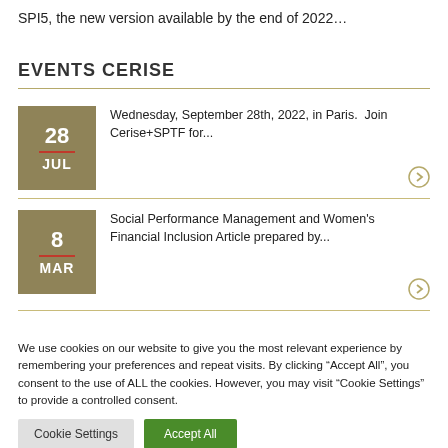SPI5, the new version available by the end of 2022...
EVENTS CERISE
28 JUL — Wednesday, September 28th, 2022, in Paris. Join Cerise+SPTF for...
8 MAR — Social Performance Management and Women's Financial Inclusion Article prepared by...
We use cookies on our website to give you the most relevant experience by remembering your preferences and repeat visits. By clicking "Accept All", you consent to the use of ALL the cookies. However, you may visit "Cookie Settings" to provide a controlled consent.